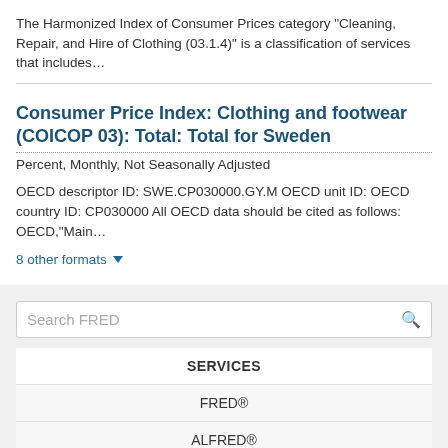The Harmonized Index of Consumer Prices category "Cleaning, Repair, and Hire of Clothing (03.1.4)" is a classification of services that includes…
Consumer Price Index: Clothing and footwear (COICOP 03): Total: Total for Sweden
Percent, Monthly, Not Seasonally Adjusted
OECD descriptor ID: SWE.CP030000.GY.M OECD unit ID: OECD country ID: CP030000 All OECD data should be cited as follows: OECD,"Main…
8 other formats ▾
Search FRED
SERVICES
FRED®
ALFRED®
Filter 2